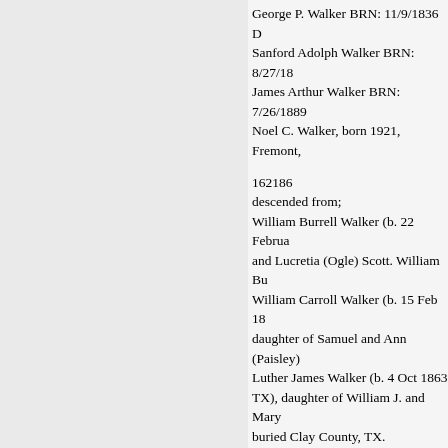George P. Walker BRN: 11/9/1836 D
Sanford Adolph Walker BRN: 8/27/18
James Arthur Walker BRN: 7/26/1889
Noel C. Walker, born 1921, Fremont,
162186
descended from;
William Burrell Walker (b. 22 Februa
and Lucretia (Ogle) Scott. William Bu
William Carroll Walker (b. 15 Feb 18
daughter of Samuel and Ann (Paisley)
Luther James Walker (b. 4 Oct 1863 
TX), daughter of William J. and Mary
buried Clay County, TX.
William Roy Walker, Sr. (b. 3 June 18
TX), daughter of William A. and Alic
died 28 December 1974 in Dallas, TX
William Roy Walker, Jr.
N13967
descended from:
Andro Walker Aberdeen, Scotland
Patrick Walker 1652 Aberdeen, Scotla
Alexander Walker 29 Jul 1674 Aberde
Peter Walker 30 Jan 1698 Aberdeen S
George Walker 29 Feb 1732 Aberdeen
Robert Walker 14 Mar 1756 Aberdeen
Robert Walker 25 Dec 1786 Aberdeen